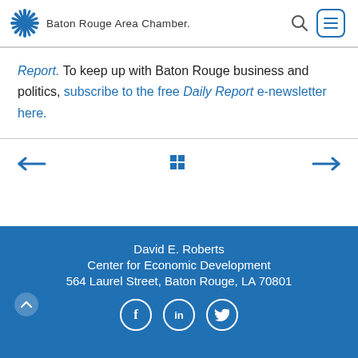Baton Rouge Area Chamber.
Report. To keep up with Baton Rouge business and politics, subscribe to the free Daily Report e-newsletter here.
David E. Roberts
Center for Economic Development
564 Laurel Street, Baton Rouge, LA 70801